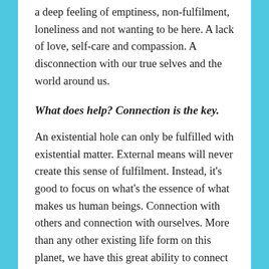a deep feeling of emptiness, non-fulfilment, loneliness and not wanting to be here. A lack of love, self-care and compassion. A disconnection with our true selves and the world around us.
What does help? Connection is the key.
An existential hole can only be fulfilled with existential matter. External means will never create this sense of fulfilment. Instead, it's good to focus on what's the essence of what makes us human beings. Connection with others and connection with ourselves. More than any other existing life form on this planet, we have this great ability to connect with each other, to love and care and communicate this in all kinds of